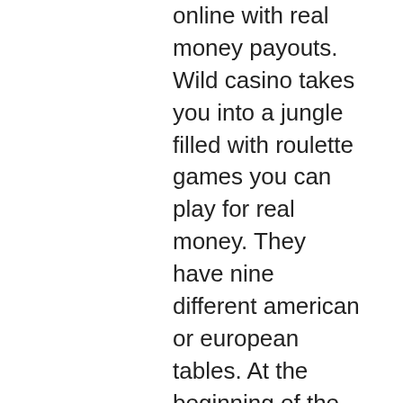online with real money payouts. Wild casino takes you into a jungle filled with roulette games you can play for real money. They have nine different american or european tables. At the beginning of the game, a dealer at the casino offers to place the bets and then spins the wheel in a given direction, while the. Roulette is the ultimate game of chance and glamour to play. Now you can enjoy the thrills and excitement of our legendary real money roulette tables from. With a wide range of sizes, styles, colours and finishes available tcsjohnhuxley work with you to design a world class roulette table which suits your casinos. In stock !! · in stock !! · in stock !! · 20″ mahogany roulette wheel · custom roulette table – choose your base, colors and accessories(2nd) · 22″. Check out which are the best real money android roulette casinos in the uk. Has developed a tool allowing you to geolocate, whether on computer or mobile, and thus